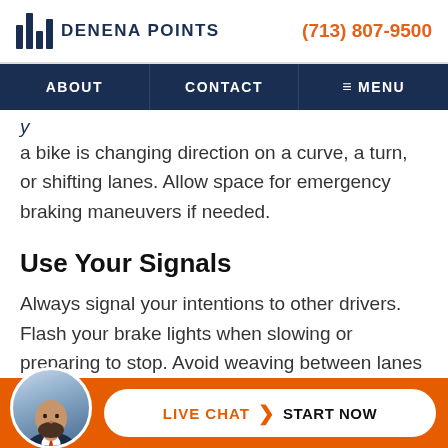DENENA POINTS | (713) 807-9500
ABOUT | CONTACT | MENU
a bike is changing direction on a curve, a turn, or shifting lanes. Allow space for emergency braking maneuvers if needed.
Use Your Signals
Always signal your intentions to other drivers. Flash your brake lights when slowing or preparing to stop. Avoid weaving between lanes and slipping through those narrow
[Figure (photo): Live chat widget with attorney photo avatar, orange background, white rounded button with LIVE CHAT > START NOW]